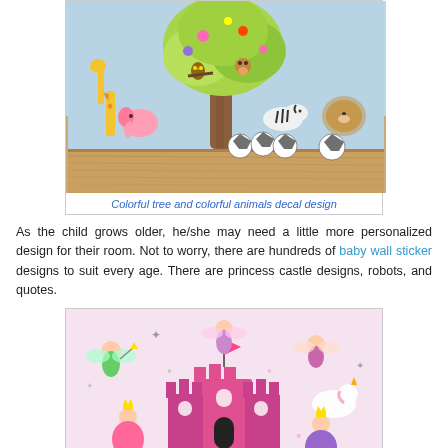[Figure (photo): Colorful tree and animal wall decals on a light blue wall with soccer balls on a wooden floor]
Colorful tree and colorful animals decal design
As the child grows older, he/she may need a little more personalized design for their room. Not to worry, there are hundreds of baby wall sticker designs to suit every age. There are princess castle designs, robots, and quotes.
[Figure (photo): Princess castle fairy wall decal design with fairies, unicorn, and princesses on a pink background]